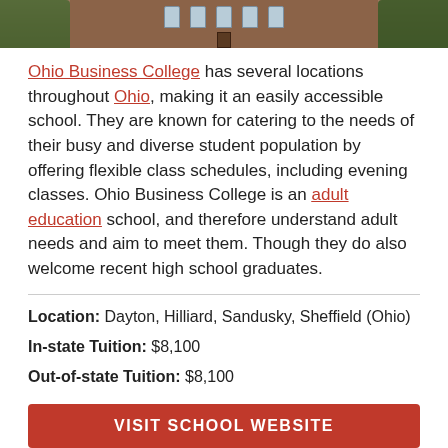[Figure (photo): Exterior photo of Ohio Business College building with brick facade and green trees]
Ohio Business College has several locations throughout Ohio, making it an easily accessible school. They are known for catering to the needs of their busy and diverse student population by offering flexible class schedules, including evening classes. Ohio Business College is an adult education school, and therefore understand adult needs and aim to meet them. Though they do also welcome recent high school graduates.
Location: Dayton, Hilliard, Sandusky, Sheffield (Ohio)
In-state Tuition: $8,100
Out-of-state Tuition: $8,100
VISIT SCHOOL WEBSITE